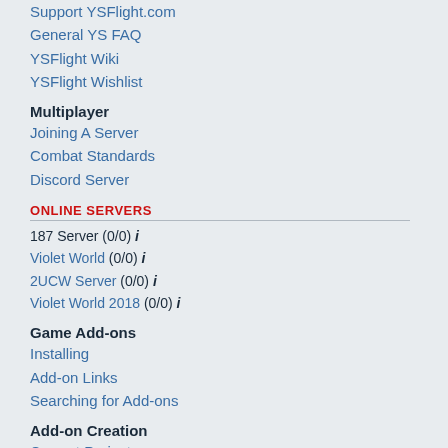Support YSFlight.com
General YS FAQ
YSFlight Wiki
YSFlight Wishlist
Multiplayer
Joining A Server
Combat Standards
Discord Server
ONLINE SERVERS
187 Server (0/0) i
Violet World (0/0) i
2UCW Server (0/0) i
Violet World 2018 (0/0) i
Game Add-ons
Installing
Add-on Links
Searching for Add-ons
Add-on Creation
Current Projects
Decaff's Video Tutorials
Aircraft Modding school
YSFlight Handbook
Open-Source Tools for YSFlight
Piloting Skills
Offline Activities